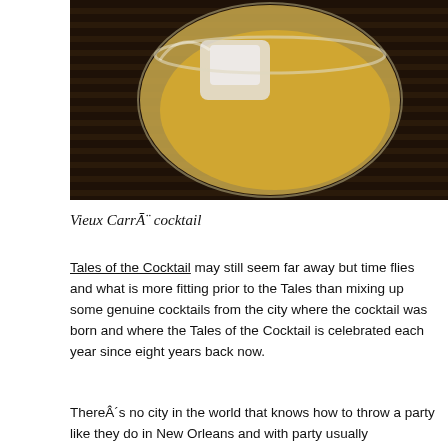[Figure (photo): A close-up photo of a cocktail glass with ice and a golden-yellow liquid (Vieux Carré cocktail) resting on a dark wooden slatted surface.]
Vieux CarrĀ¨ cocktail
Tales of the Cocktail may still seem far away but time flies and what is more fitting prior to the Tales than mixing up some genuine cocktails from the city where the cocktail was born and where the Tales of the Cocktail is celebrated each year since eight years back now.
ThereÂ´s no city in the world that knows how to throw a party like they do in New Orleans and with party usually